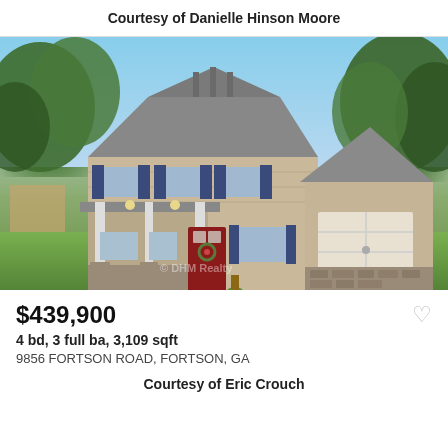Courtesy of Danielle Hinson Moore
[Figure (photo): Two-story craftsman-style house with front porch, two-car garage, stone accents, dark shutters, red front door, and green lawn.]
$439,900
4 bd, 3 full ba, 3,109 sqft
9856 FORTSON ROAD, FORTSON, GA
Courtesy of Eric Crouch